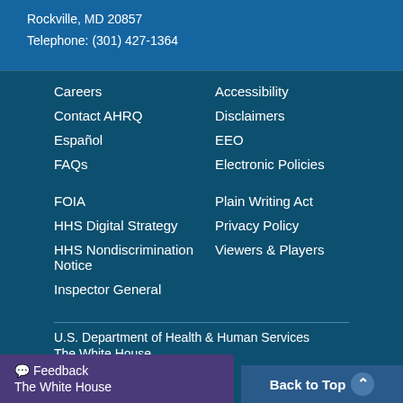Rockville, MD 20857
Telephone: (301) 427-1364
Careers
Contact AHRQ
Español
FAQs
FOIA
HHS Digital Strategy
HHS Nondiscrimination Notice
Inspector General
Accessibility
Disclaimers
EEO
Electronic Policies
Plain Writing Act
Privacy Policy
Viewers & Players
U.S. Department of Health & Human Services
The White House